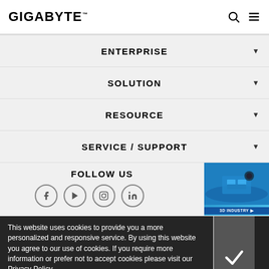GIGABYTE
ENTERPRISE
SOLUTION
RESOURCE
SERVICE / SUPPORT
FOLLOW US
[Figure (screenshot): 3D Industry banner with blue background and building illustration]
This website uses cookies to provide you a more personalized and responsive service. By using this website you agree to our use of cookies. If you require more information or prefer not to accept cookies please visit our Privacy Policy.
Terms Of Use | Privacy Policy | Site Map